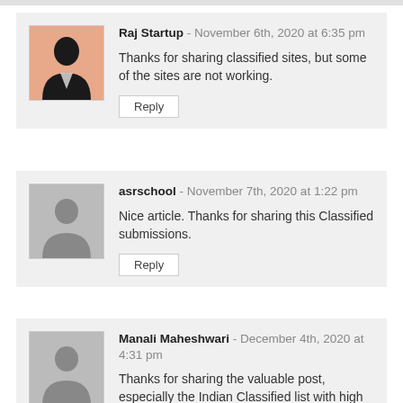Raj Startup - November 6th, 2020 at 6:35 pm
Thanks for sharing classified sites, but some of the sites are not working.
Reply
asrschool - November 7th, 2020 at 1:22 pm
Nice article. Thanks for sharing this Classified submissions.
Reply
Manali Maheshwari - December 4th, 2020 at 4:31 pm
Thanks for sharing the valuable post, especially the Indian Classified list with high DA and PR. Thanks for taking a great post.